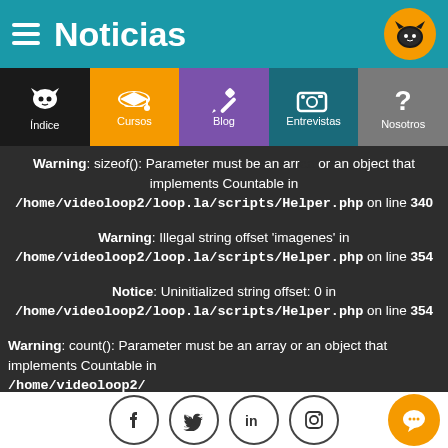Noticias
[Figure (screenshot): Navigation menu with icons: Índice (cat icon, black), Cursos (graduation cap, orange), Blog (pencil, purple), Entrevistas (camera, teal), Nosotros (question mark, gray)]
Warning: sizeof(): Parameter must be an array or an object that implements Countable in /home/videoloop2/loop.la/scripts/Helper.php on line 340
Warning: Illegal string offset 'imagenes' in /home/videoloop2/loop.la/scripts/Helper.php on line 354
Notice: Uninitialized string offset: 0 in /home/videoloop2/loop.la/scripts/Helper.php on line 354
Warning: count(): Parameter must be an array or an object that implements Countable in /home/videoloop2/loop.la/scripts/Helper.php
Warning: Illegal string offset 'imagenes' in
[Figure (screenshot): Social media icons row: Facebook, Twitter, LinkedIn, Instagram circles, and orange chat button]